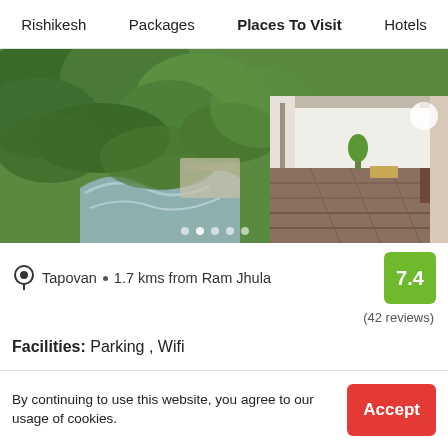Rishikesh   Packages   Places To Visit   Hotels
[Figure (photo): Hotel exterior photo showing a stream surrounded by green trees on the left and a covered walkway/corridor of the hotel on the right]
Tapovan  •  1.7 kms from Ram Jhula
7.4
(42 reviews)
Facilities: Parking , Wifi
✓  Hotel with 3 room options
Enter dates
to see price
View Deal ›
By continuing to use this website, you agree to our usage of cookies.   Accept